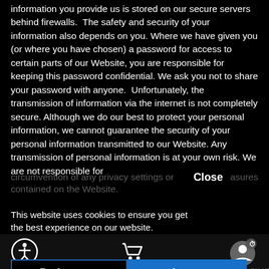information you provide us is stored on our secure servers behind firewalls.  The safety and security of your information also depends on you. Where we have given you (or where you have chosen) a password for access to certain parts of our Website, you are responsible for keeping this password confidential. We ask you not to share your password with anyone.  Unfortunately, the transmission of information via the internet is not completely secure. Although we do our best to protect your personal information, we cannot guarantee the security of your personal information transmitted to our Website. Any transmission of personal information is at your own risk. We are not responsible for circumvention of any privacy settings or security measures contained on the Website.
This website uses cookies to ensure you get the best experience on our website.
Privacy Policy
It is our policy to post any changes we make to our privacy policy on this page. If we make material changes to how we treat our users' personal information, we will notify
Preferences
Accept